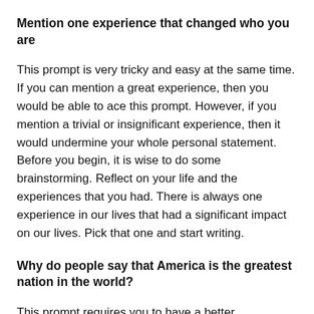Mention one experience that changed who you are
This prompt is very tricky and easy at the same time. If you can mention a great experience, then you would be able to ace this prompt. However, if you mention a trivial or insignificant experience, then it would undermine your whole personal statement. Before you begin, it is wise to do some brainstorming. Reflect on your life and the experiences that you had. There is always one experience in our lives that had a significant impact on our lives. Pick that one and start writing.
Why do people say that America is the greatest nation in the world?
This prompt requires you to have a better understanding of great nations and their